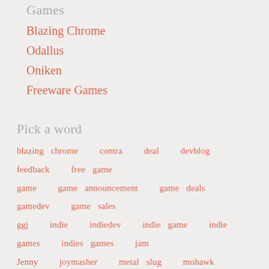Games
Blazing Chrome
Odallus
Oniken
Freeware Games
Pick a word
blazing chrome  contra  deal  devblog  feedback  free game  game  game announcement  game deals  gamedev  game sales  ggj  indie  indiedev  indie game  indie games  indies games  jam  Jenny  joymasher  metal slug  mohawk  moonrider  music  nes  new game  ninja  Odallus  Oniken  online  opinion  OST  pixel animation  pixel art  pixelart  preview  retro  robot  robots  run n gun  sale  steam  steam summer sale